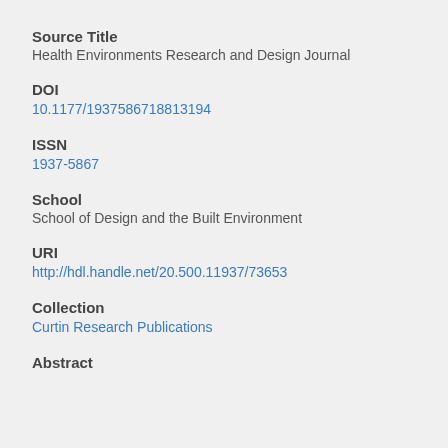Source Title
Health Environments Research and Design Journal
DOI
10.1177/1937586718813194
ISSN
1937-5867
School
School of Design and the Built Environment
URI
http://hdl.handle.net/20.500.11937/73653
Collection
Curtin Research Publications
Abstract